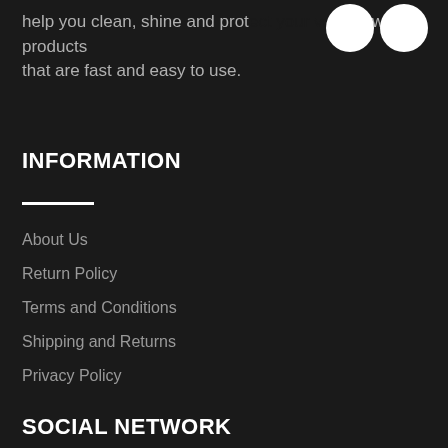help you clean, shine and protect your vehicle with products that are fast and easy to use.
[Figure (illustration): Two white circles side by side, partially overlapping the text area in the top right]
INFORMATION
About Us
Return Policy
Terms and Conditions
Shipping and Returns
Privacy Policy
SOCIAL NETWORK